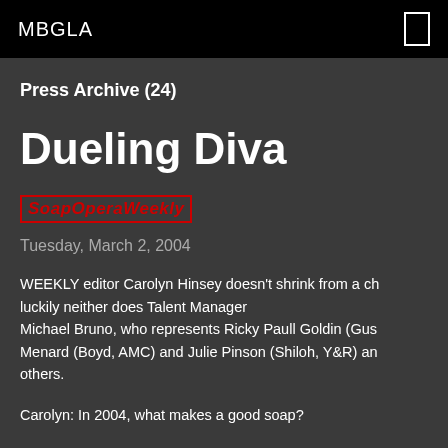MBGLA
Press Archive (24)
Dueling Diva
[Figure (logo): Soap Opera Weekly logo in red italic bold text with red border]
Tuesday, March 2, 2004
WEEKLY editor Carolyn Hinsey doesn't shrink from a ch luckily neither does Talent Manager Michael Bruno, who represents Ricky Paull Goldin (Gus Menard (Boyd, AMC) and Julie Pinson (Shiloh, Y&R) an others.
Carolyn: In 2004, what makes a good soap?